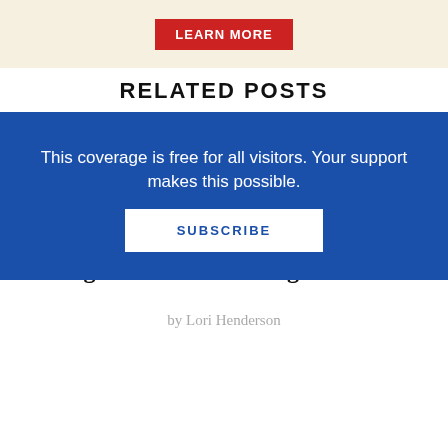[Figure (other): Advertisement banner with beige background and red 'LEARN MORE' button]
RELATED POSTS
JUNE 2011
All ages comics and manga for 6/15/11
by Lori Henderson
JUNE 2011
All ages comics and manga for 6/8/11
by Lori Henderson
This coverage is free for all visitors. Your support makes this possible.
SUBSCRIBE